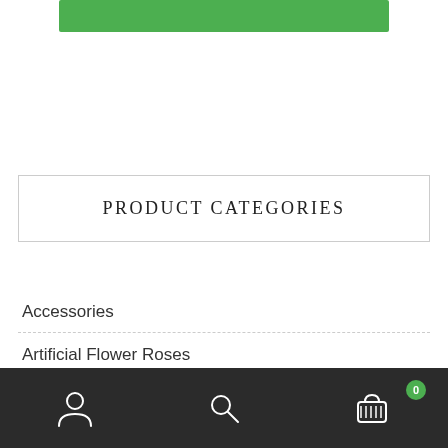[Figure (other): Green banner/button bar at top of page]
PRODUCT CATEGORIES
Accessories
Artificial Flower Roses
Cacti
Rosettes Succulents
[Figure (other): Mobile bottom navigation bar with user account icon, search icon, and shopping cart icon with badge showing 0]